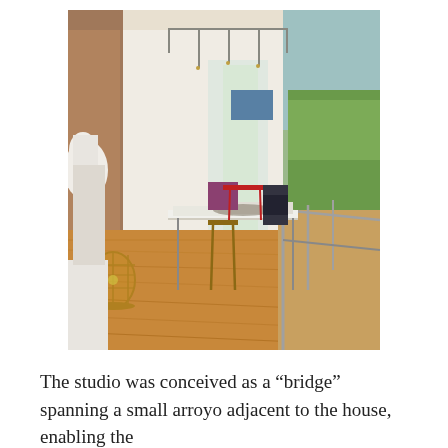[Figure (photo): Interior of an artist's studio conceived as a bridge spanning a small arroyo. The room features warm honey-toned hardwood floors, floor-to-ceiling glass walls and sliding doors open to a lush hillside landscape view. A large white work table sits center with papers/artwork spread on it, flanked by a gold director's chair. A decorative brass birdcage sits on a pedestal in the foreground left, next to a white classical marble bust/statue. Industrial pendant track lighting hangs from the ceiling. Exercise equipment (treadmill) is visible in the background right. Artwork and photos hang on the walls.]
The studio was conceived as a “bridge” spanning a small arroyo adjacent to the house, enabling the